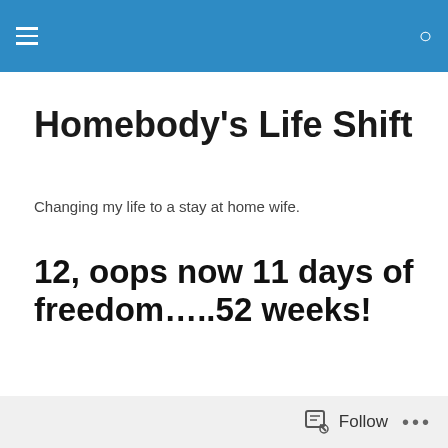Homebody's Life Shift
Changing my life to a stay at home wife.
12, oops now 11 days of freedom…..52 weeks!
[Figure (illustration): ORG Junkie's 52 WEEKS of organizing banner image showing stacked colorful gift boxes and text 'ORG Junkie's 52 WEEKS of organizing orgjunkie.com 2011']
Follow